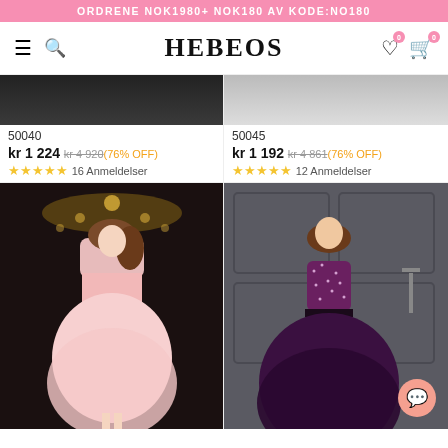ORDRENE NOK1980+ NOK180 AV KODE:NO180
[Figure (logo): Hebeos website navigation bar with hamburger menu, search icon, HEBEOS brand name, wishlist and cart icons]
50040
kr 1224 kr 4920 (76% OFF)
★★★★★ 16 Anmeldelser
50045
kr 1192 kr 4861 (76% OFF)
★★★★★ 12 Anmeldelser
[Figure (photo): Woman in a pink strapless tea-length tulle ball gown with a bow at the waist, photographed in front of a chandelier in a dark room]
[Figure (photo): Woman in a purple strapless beaded ball gown with a long full skirt, photographed in front of grey panelled walls]